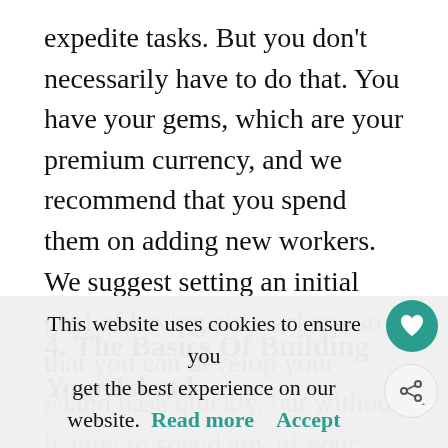expedite tasks. But you don't necessarily have to do that. You have your gems, which are your premium currency, and we recommend that you spend them on adding new workers. We suggest setting an initial goal of having six workers, so that you can develop your island base quickly, but without having to spend any of your hard-earned cash.
4. The Basics Of Building Your Island
This website uses cookies to ensure you get the best experience on our website. Read more Accept
When it comes to building up your island base, you need to plan things very carefully. The instinctive thing to do may be to focus on